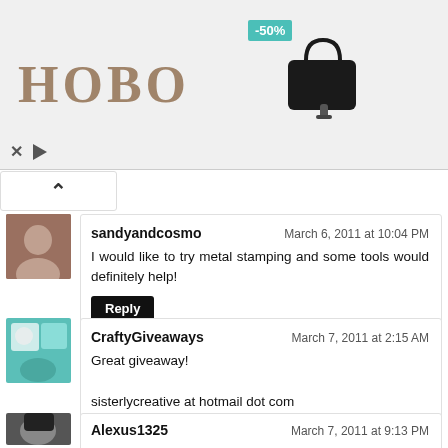[Figure (screenshot): HOBO brand advertisement banner with teal -50% discount badge, brown serif HOBO logo, black handbag product image, and ad controls (X and play button)]
sandyandcosmo — March 6, 2011 at 10:04 PM
I would like to try metal stamping and some tools would definitely help!
[Reply]
CraftyGiveaways — March 7, 2011 at 2:15 AM
Great giveaway!
sisterlycreative at hotmail dot com
[Reply]
Alexus1325 — March 7, 2011 at 9:13 PM
Oooooh, table vise.... OOOOH, rosary pliers!